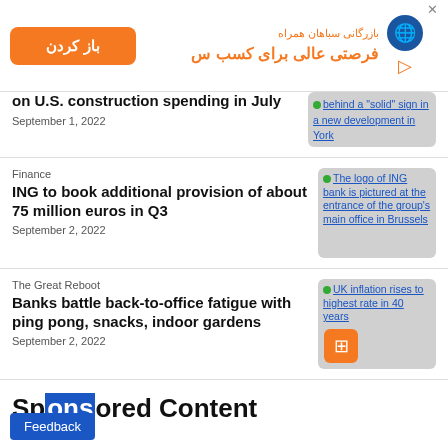[Figure (other): Persian language advertisement banner with orange button labeled 'باز کردن' and text 'فرصتی عالی برای کسب سود' with a globe/satellite logo icon]
on U.S. construction spending in July
September 1, 2022
[Figure (other): Thumbnail image placeholder with link text: behind a solid sign in a new development in York]
Finance
ING to book additional provision of about 75 million euros in Q3
September 2, 2022
[Figure (photo): The logo of ING bank is pictured at the entrance of the group's main office in Brussels]
The Great Reboot
Banks battle back-to-office fatigue with ping pong, snacks, indoor gardens
September 2, 2022
[Figure (photo): UK inflation rises to highest rate in 40 years]
Sponsored Content
Feedback